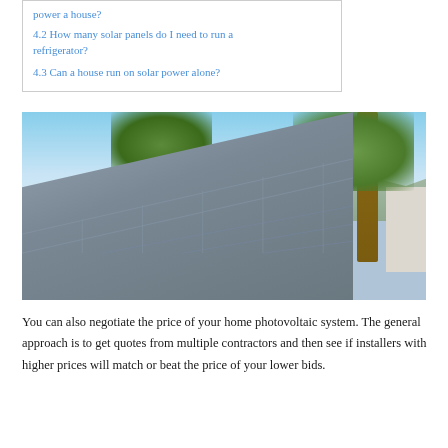4.2 How many solar panels do I need to run a refrigerator?
4.3 Can a house run on solar power alone?
[Figure (photo): Rooftop solar panels on a flat roof with palm trees and a sunny desert landscape in the background including mountains and green lawn]
You can also negotiate the price of your home photovoltaic system. The general approach is to get quotes from multiple contractors and then see if installers with higher prices will match or beat the price of your lower bids.